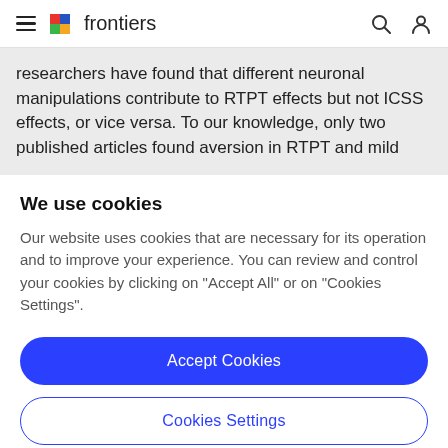frontiers
researchers have found that different neuronal manipulations contribute to RTPT effects but not ICSS effects, or vice versa. To our knowledge, only two published articles found aversion in RTPT and mild
We use cookies
Our website uses cookies that are necessary for its operation and to improve your experience. You can review and control your cookies by clicking on "Accept All" or on "Cookies Settings".
Accept Cookies
Cookies Settings